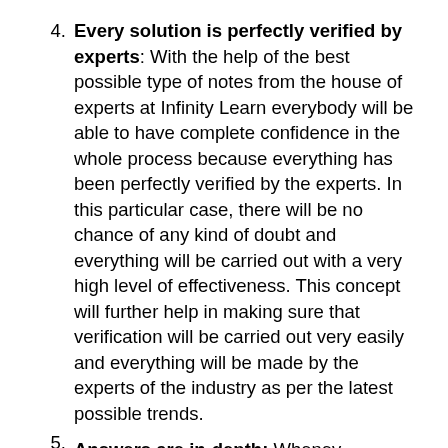4. Every solution is perfectly verified by experts: With the help of the best possible type of notes from the house of experts at Infinity Learn everybody will be able to have complete confidence in the whole process because everything has been perfectly verified by the experts. In this particular case, there will be no chance of any kind of doubt and everything will be carried out with a very high level of effectiveness. This concept will further help in making sure that verification will be carried out very easily and everything will be made by the experts of the industry as per the latest possible trends.
5. Answers are in-depth: Whenever...